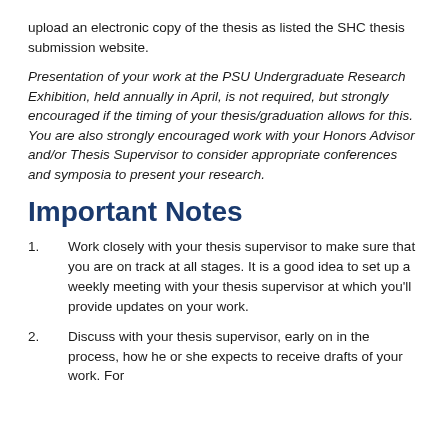upload an electronic copy of the thesis as listed the SHC thesis submission website.
Presentation of your work at the PSU Undergraduate Research Exhibition, held annually in April, is not required, but strongly encouraged if the timing of your thesis/graduation allows for this. You are also strongly encouraged work with your Honors Advisor and/or Thesis Supervisor to consider appropriate conferences and symposia to present your research.
Important Notes
Work closely with your thesis supervisor to make sure that you are on track at all stages. It is a good idea to set up a weekly meeting with your thesis supervisor at which you'll provide updates on your work.
Discuss with your thesis supervisor, early on in the process, how he or she expects to receive drafts of your work. For